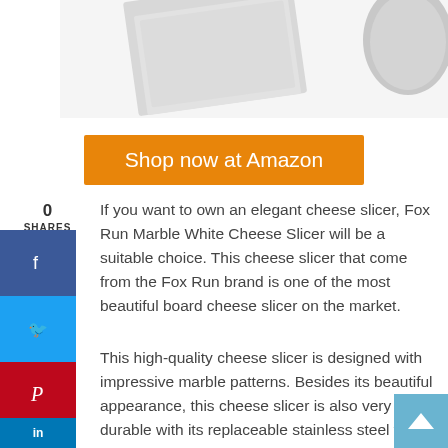[Figure (photo): Partial view of a marble white cheese slicer product on white background]
Shop now at Amazon
0
SHARES
If you want to own an elegant cheese slicer, Fox Run Marble White Cheese Slicer will be a suitable choice. This cheese slicer that come from the Fox Run brand is one of the most beautiful board cheese slicer on the market.
This high-quality cheese slicer is designed with impressive marble patterns. Besides its beautiful appearance, this cheese slicer is also very durable with its replaceable stainless steel wire and lever.